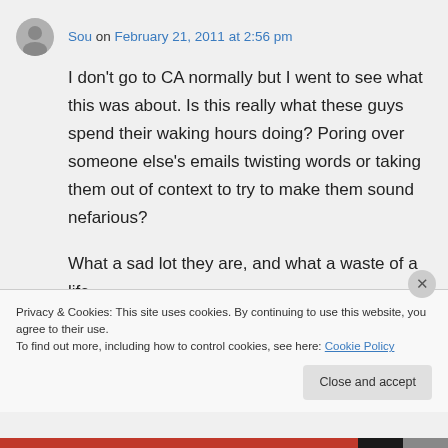Sou on February 21, 2011 at 2:56 pm
I don't go to CA normally but I went to see what this was about. Is this really what these guys spend their waking hours doing? Poring over someone else's emails twisting words or taking them out of context to try to make them sound nefarious?

What a sad lot they are, and what a waste of a life.
Privacy & Cookies: This site uses cookies. By continuing to use this website, you agree to their use.
To find out more, including how to control cookies, see here: Cookie Policy